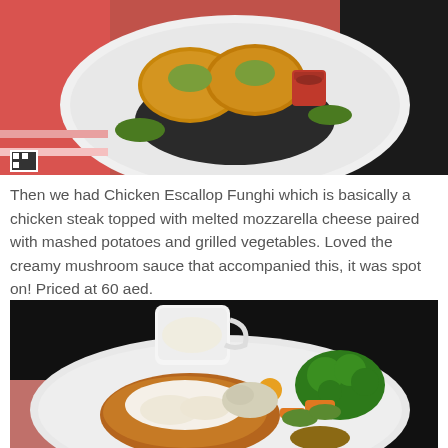[Figure (photo): Top-down view of a plate of fried chicken patties with black quinoa or lentils and a small red cup of dipping sauce, on a white plate, on a pink/red background]
Then we had Chicken Escallop Funghi which is basically a chicken steak topped with melted mozzarella cheese paired with mashed potatoes and grilled vegetables. Loved the creamy mushroom sauce that accompanied this, it was spot on! Priced at 60 aed.
[Figure (photo): A white plate with a chicken steak covered in melted mozzarella cheese alongside grilled vegetables (broccoli, carrots, zucchini) and a white gravy boat with creamy mushroom sauce, on a dark background]